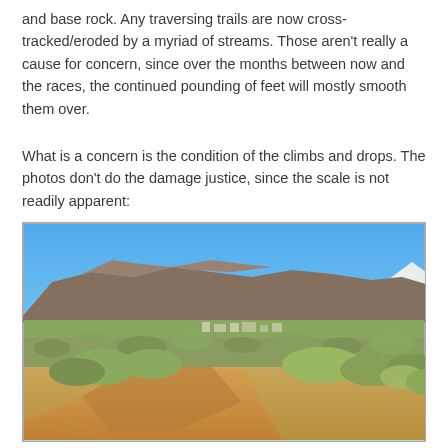and base rock. Any traversing trails are now cross-tracked/eroded by a myriad of streams. Those aren't really a cause for concern, since over the months between now and the races, the continued pounding of feet will mostly smooth them over.
What is a concern is the condition of the climbs and drops. The photos don't do the damage justice, since the scale is not readily apparent:
[Figure (photo): Outdoor desert landscape photo showing an eroded sandy trail/gully in the foreground with sagebrush vegetation, a valley with a town in the middle distance, and mountain range under a clear blue sky in the background.]